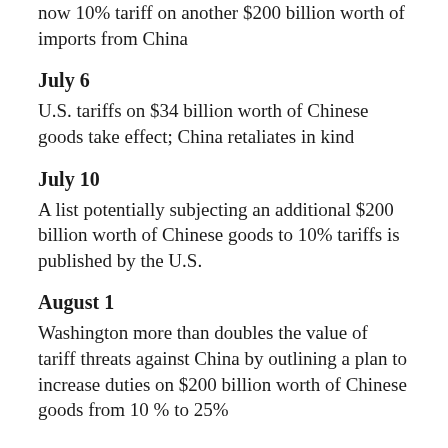now 10% tariff on another $200 billion worth of imports from China
July 6
U.S. tariffs on $34 billion worth of Chinese goods take effect; China retaliates in kind
July 10
A list potentially subjecting an additional $200 billion worth of Chinese goods to 10% tariffs is published by the U.S.
August 1
Washington more than doubles the value of tariff threats against China by outlining a plan to increase duties on $200 billion worth of Chinese goods from 10% to 25%